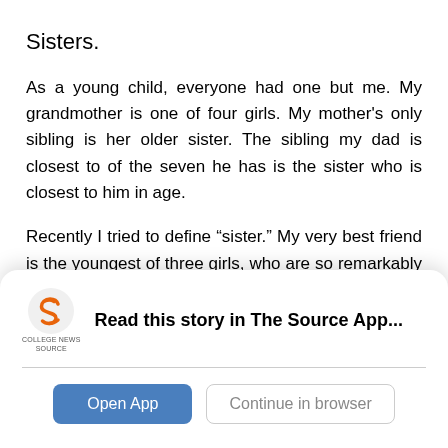Sisters.
As a young child, everyone had one but me. My grandmother is one of four girls. My mother's only sibling is her older sister. The sibling my dad is closest to of the seven he has is the sister who is closest to him in age.
Recently I tried to define “sister.” My very best friend is the youngest of three girls, who are so remarkably similar, yet unique at the same time. There is no one in the world that my boyfriend simultaneously loves and loathes more than his
[Figure (logo): College News Source logo with stylized orange S and text 'COLLEGE NEWS SOURCE']
Read this story in The Source App...
Open App   Continue in browser